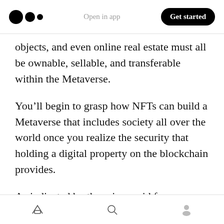Medium logo | Open in app | Get started
objects, and even online real estate must all be ownable, sellable, and transferable within the Metaverse.
You’ll begin to grasp how NFTs can build a Metaverse that includes society all over the world once you realize the security that holding a digital property on the blockchain provides.
As indicated by the prices paid for some digital artwork, the concept of NFTs conferring ownership over digital goods has already been recognized by the masses. The Metaverse is
Home | Search | Profile